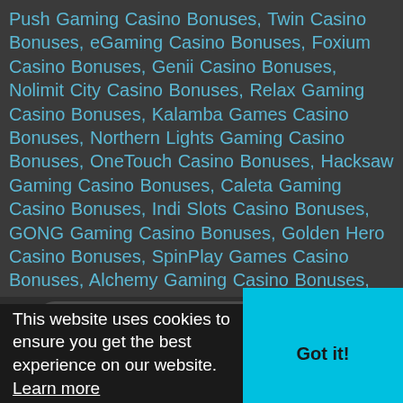Push Gaming Casino Bonuses, Twin Casino Bonuses, eGaming Casino Bonuses, Foxium Casino Bonuses, Genii Casino Bonuses, Nolimit City Casino Bonuses, Relax Gaming Casino Bonuses, Kalamba Games Casino Bonuses, Northern Lights Gaming Casino Bonuses, OneTouch Casino Bonuses, Hacksaw Gaming Casino Bonuses, Caleta Gaming Casino Bonuses, Indi Slots Casino Bonuses, GONG Gaming Casino Bonuses, Golden Hero Casino Bonuses, SpinPlay Games Casino Bonuses, Alchemy Gaming Casino Bonuses, Asia Gaming Casino Bonuses, EGT Casino Bonuses, Betgames Casino Bonuses, Ezugi Casino Bonuses, eBET Casino Bonuses, Gamzix Casino Bonuses, Casino bonus Codes
Overall Score: UNRATED
This website uses cookies to ensure you get the best experience on our website. Learn more
Got it!
Casino Payments: